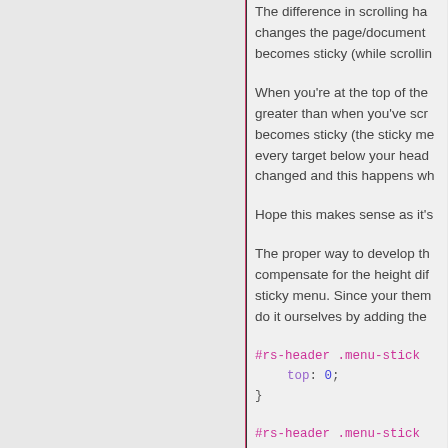The difference in scrolling happens because when the page/ document changes the page/document becomes sticky (while scrollin
When you're at the top of the greater than when you've scr becomes sticky (the sticky me every target below your head changed and this happens wh
Hope this makes sense as it's
The proper way to develop th compensate for the height dif sticky menu. Since your them do it ourselves by adding the
#rs-header .menu-stick
    top: 0;
}
#rs-header .menu-stick
    margin-top: 149px